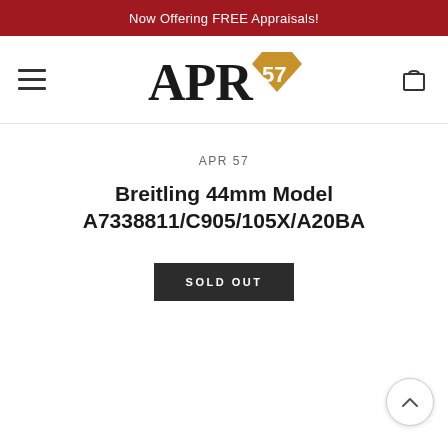Now Offering FREE Appraisals!
[Figure (logo): APR57 logo with diamond shape and serif lettering]
APR 57
Breitling 44mm Model A7338811/C905/105X/A20BA
SOLD OUT